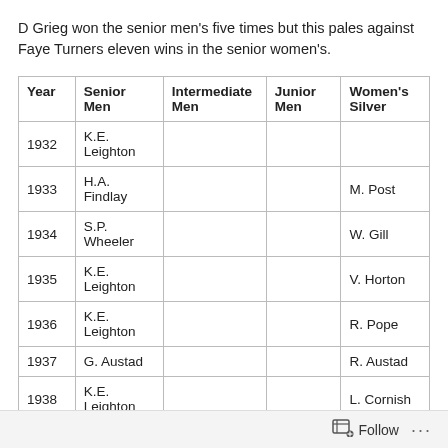D Grieg won the senior men's five times but this pales against Faye Turners eleven wins in the senior women's.
| Year | Senior Men | Intermediate Men | Junior Men | Women's Silver |
| --- | --- | --- | --- | --- |
| 1932 | K.E. Leighton |  |  |  |
| 1933 | H.A. Findlay |  |  | M. Post |
| 1934 | S.P. Wheeler |  |  | W. Gill |
| 1935 | K.E. Leighton |  |  | V. Horton |
| 1936 | K.E. Leighton |  |  | R. Pope |
| 1937 | G. Austad |  |  | R. Austad |
| 1938 | K.E. Leighton |  |  | L. Cornish |
Follow ···